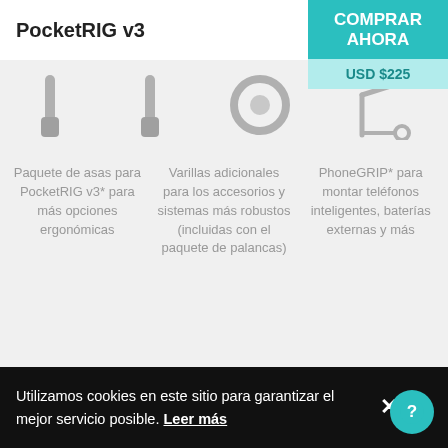PocketRIG v3
COMPRAR AHORA
USD $225
[Figure (illustration): Three product icons partially visible: two handle/grip icons, a wheel/circular accessory icon, and a phone grip stand icon]
Paquete de asas para PocketRIG v3* para más opciones ergonómicas
Varillas adicionales para los accesorios y sistemas más robustos (incluidas con el paquete de palancas)
PhoneGRIP* para montar teléfonos inteligentes, baterías externas y más
*Los productos
Utilizamos cookies en este sitio para garantizar el mejor servicio posible. Leer más